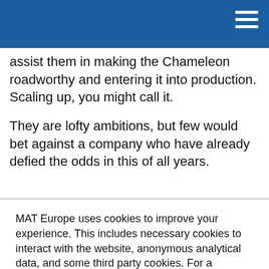assist them in making the Chameleon roadworthy and entering it into production. Scaling up, you might call it.
They are lofty ambitions, but few would bet against a company who have already defied the odds in this of all years.
MAT Europe uses cookies to improve your experience. This includes necessary cookies to interact with the website, anonymous analytical data, and some third party cookies. For a complete list and further options please see our Cookie Policy.
Accept All and Close